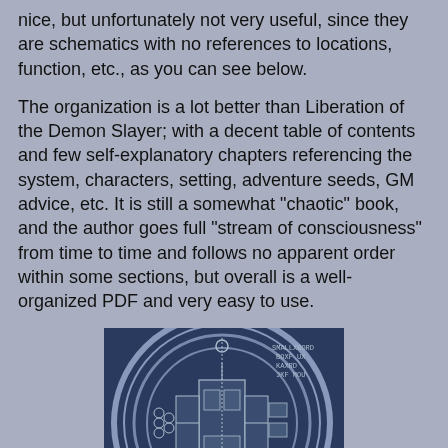nice, but unfortunately not very useful, since they are schematics with no references to locations, function, etc., as you can see below.
The organization is a lot better than Liberation of the Demon Slayer; with a decent table of contents and few self-explanatory chapters referencing the system, characters, setting, adventure seeds, GM advice, etc. It is still a somewhat "chaotic" book, and the author goes full "stream of consciousness" from time to time and follows no apparent order within some sections, but overall is a well-organized PDF and very easy to use.
[Figure (schematic): A blue schematic/blueprint floor plan of a circular structure, showing rooms, corridors, and architectural details. The schematic appears to be for a sci-fi or fantasy setting, with circular outer walls, various interior rooms and passages, and a scale bar at the bottom left. There is text in a stylized font in the upper right corner.]